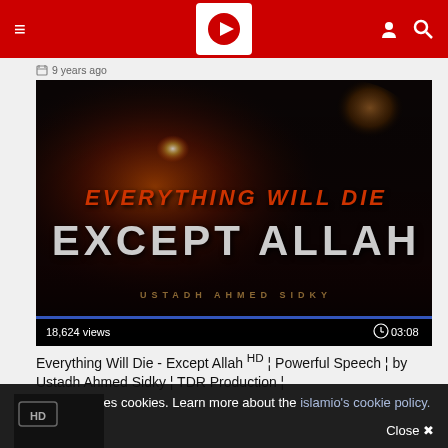Navigation bar with hamburger menu, logo, user icon, search icon
9 years ago
[Figure (screenshot): Video thumbnail showing dark explosion/fire background with text 'EVERYTHING WILL DIE EXCEPT ALLAH' and 'USTADH AHMED SIDKY'. Shows 18,624 views and duration 03:08.]
Everything Will Die - Except Allah HD ¦ Powerful Speech ¦ by Ustadh Ahmed Sidky ¦ TDR Production ¦
9 years ago
This website uses cookies. Learn more about the islamio's cookie policy.
Close ✖